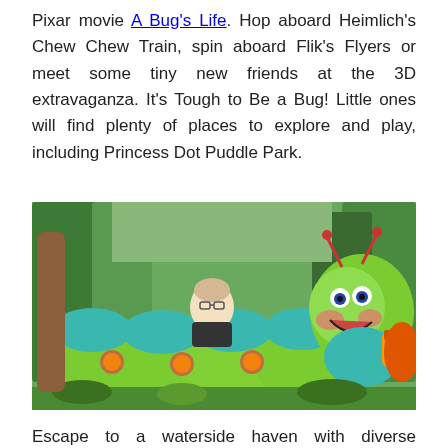Pixar movie A Bug's Life. Hop aboard Heimlich's Chew Chew Train, spin aboard Flik's Flyers or meet some tiny new friends at the 3D extravaganza. It's Tough to Be a Bug! Little ones will find plenty of places to explore and play, including Princess Dot Puddle Park.
[Figure (photo): Photo of Heimlich's Chew Chew Train ride at Disney California Adventure, showing a green caterpillar-shaped train car with an oversized Heimlich character at the front holding food, riders seated in the train car segments, surrounded by oversized plants and themed foliage.]
Escape to a waterside haven with diverse restaurant